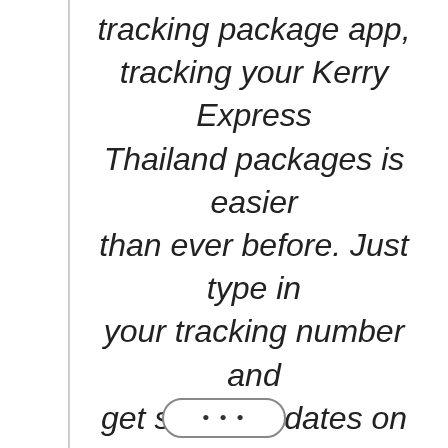tracking package app, tracking your Kerry Express Thailand packages is easier than ever before. Just type in your tracking number and get status updates on your delivery automatically.